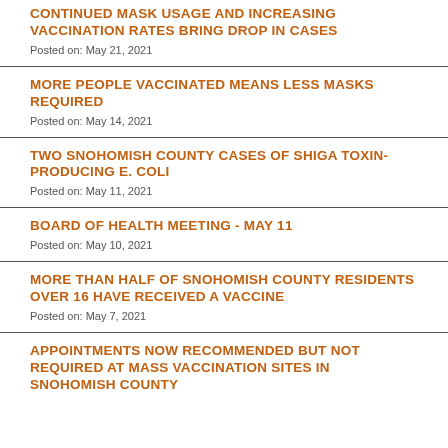CONTINUED MASK USAGE AND INCREASING VACCINATION RATES BRING DROP IN CASES
Posted on: May 21, 2021
MORE PEOPLE VACCINATED MEANS LESS MASKS REQUIRED
Posted on: May 14, 2021
TWO SNOHOMISH COUNTY CASES OF SHIGA TOXIN-PRODUCING E. COLI
Posted on: May 11, 2021
BOARD OF HEALTH MEETING - MAY 11
Posted on: May 10, 2021
MORE THAN HALF OF SNOHOMISH COUNTY RESIDENTS OVER 16 HAVE RECEIVED A VACCINE
Posted on: May 7, 2021
APPOINTMENTS NOW RECOMMENDED BUT NOT REQUIRED AT MASS VACCINATION SITES IN SNOHOMISH COUNTY